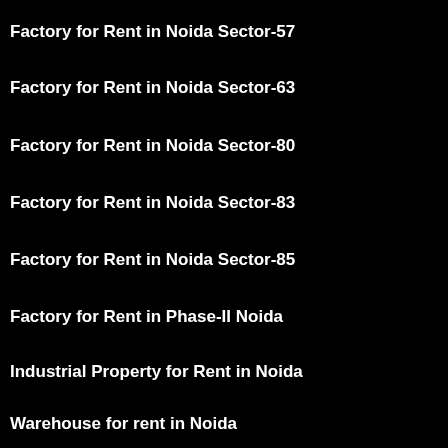Factory for Rent in Noida Sector-57
Factory for Rent in Noida Sector-63
Factory for Rent in Noida Sector-80
Factory for Rent in Noida Sector-83
Factory for Rent in Noida Sector-85
Factory for Rent in Phase-II Noida
Industrial Property for Rent in Noida
Warehouse for rent in Noida
Business Parks in Noida